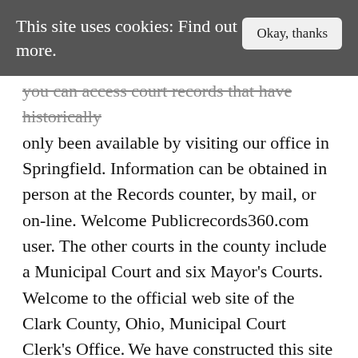This site uses cookies: Find out more.
you can access court records that have historically only been available by visiting our office in Springfield. Information can be obtained in person at the Records counter, by mail, or on-line. Welcome Publicrecords360.com user. The other courts in the county include a Municipal Court and six Mayor's Courts. Welcome to the official web site of the Clark County, Ohio, Municipal Court Clerk's Office. We have constructed this site as a service to the citizens of Clark County. There is a separate Records Inquiry portal for viewing the records of the Las Vegas Township Justice Court. Calendar Search. There are 6...